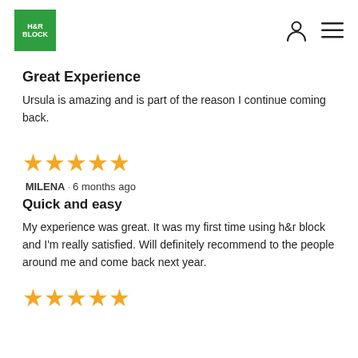[Figure (logo): H&R Block green logo]
Great Experience
Ursula is amazing and is part of the reason I continue coming back.
[Figure (other): 5 gold stars rating]
MILENA · 6 months ago
Quick and easy
My experience was great. It was my first time using h&r block and I'm really satisfied. Will definitely recommend to the people around me and come back next year.
[Figure (other): Partial gold stars rating (cut off at bottom)]